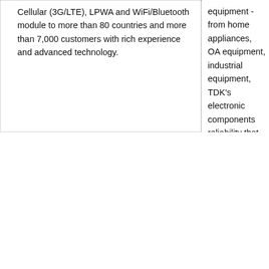Cellular (3G/LTE), LPWA and WiFi/Bluetooth module to more than 80 countries and more than 7,000 customers with rich experience and advanced technology.
equipment - from home appliances, OA equipment, industrial equipment, TDK's electronic components reliability that support convenient electronics handles CF cards and controllers developed reliability and support and FA equipment.